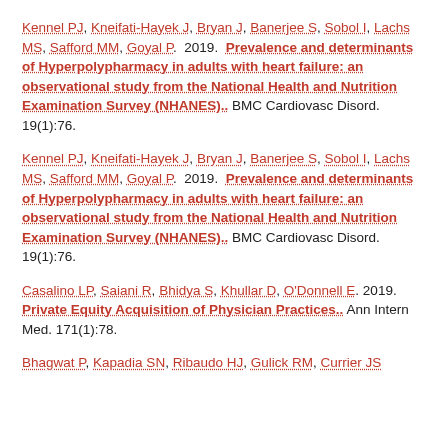Kennel PJ, Kneifati-Hayek J, Bryan J, Banerjee S, Sobol I, Lachs MS, Safford MM, Goyal P. 2019. Prevalence and determinants of Hyperpolypharmacy in adults with heart failure: an observational study from the National Health and Nutrition Examination Survey (NHANES).. BMC Cardiovasc Disord. 19(1):76.
Kennel PJ, Kneifati-Hayek J, Bryan J, Banerjee S, Sobol I, Lachs MS, Safford MM, Goyal P. 2019. Prevalence and determinants of Hyperpolypharmacy in adults with heart failure: an observational study from the National Health and Nutrition Examination Survey (NHANES).. BMC Cardiovasc Disord. 19(1):76.
Casalino LP, Saiani R, Bhidya S, Khullar D, O'Donnell E. 2019. Private Equity Acquisition of Physician Practices.. Ann Intern Med. 171(1):78.
Bhagwat P, Kapadia SN, Ribaudo HJ, Gulick RM, Currier JS...